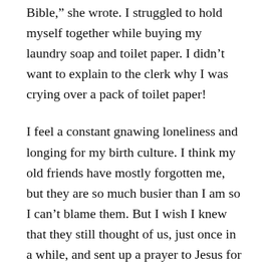Bible,” she wrote. I struggled to hold myself together while buying my laundry soap and toilet paper. I didn’t want to explain to the clerk why I was crying over a pack of toilet paper!
I feel a constant gnawing loneliness and longing for my birth culture. I think my old friends have mostly forgotten me, but they are so much busier than I am so I can’t blame them. But I wish I knew that they still thought of us, just once in a while, and sent up a prayer to Jesus for us all.
But I also feel a constant sense of awe and gratitude at God’s provision through His people in our town. I had a minor surgery recently, and didn’t think of telling